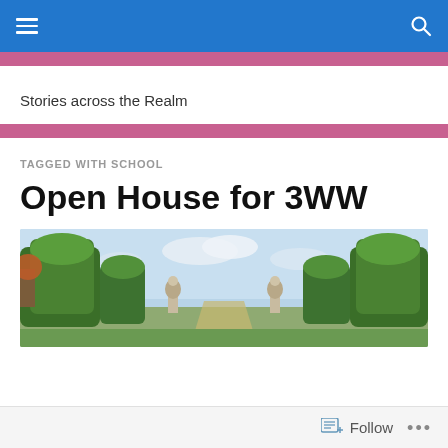Navigation bar with hamburger menu and search icon
Stories across the Realm
TAGGED WITH SCHOOL
Open House for 3WW
[Figure (photo): Outdoor park or garden scene with tall green trees/hedges flanking a central path, with decorative stone statues/sculptures on either side under a partly cloudy sky]
Follow  ...